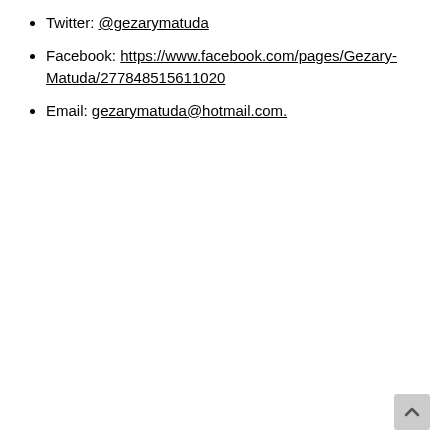Twitter: @gezarymatuda
Facebook: https://www.facebook.com/pages/Gezary-Matuda/277848515611020
Email: gezarymatuda@hotmail.com.